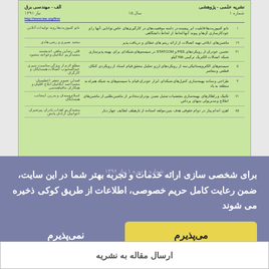[Figure (screenshot): A screenshot of a Persian academic journal (Electrical Engineering) table of contents page with green background, showing journal title, URL, volume/issue/year info, and a list of articles with authors and page numbers.]
برای شخصی سازی ارائه خدمات و تجربه بهتر شما در این سایت، ضمن رعایت کامل حریم خصوصی، اطلاعات از طریق کوکی ذخیره می شوند
شماره ۱ دوره ۱ نیاز ۱۳۹۶
می‌پذیرم
نمی‌پذیرم
ارسال مقاله به نشریه